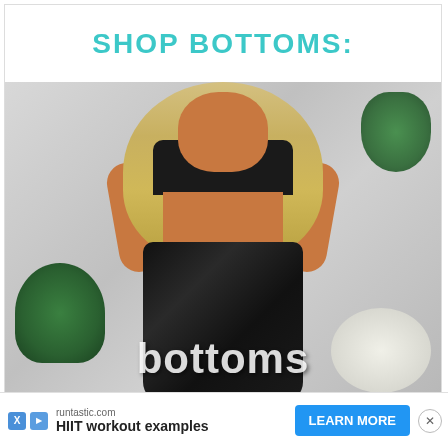SHOP BOTTOMS:
[Figure (photo): A woman with long blonde wavy hair wearing a black crop top and black shiny/leather high-waisted leggings, posed in front of a white curtain background with green plants and white pumpkin decorations. Text overlay reads 'bottoms' at the bottom of the image.]
runtastic.com
HIIT workout examples
LEARN MORE